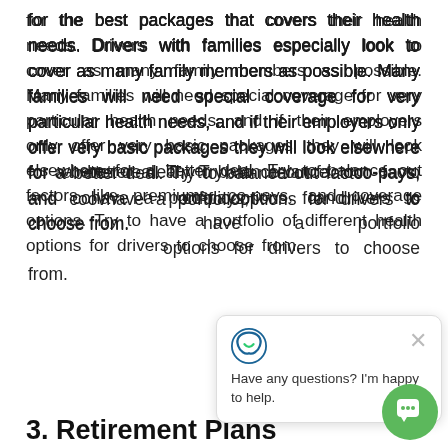for the best packages that covers their health needs. Drivers with families especially look to cover as many family members as possible. Many families will need special coverage for very particular health needs, and if their employers only offer very basic packages they will look elsewhere for a better deal. Try to balance out factors like premiums, co-pays, and coverage options. Try to have a portfolio of different health options for drivers to choose from.
3. Retirement Plans